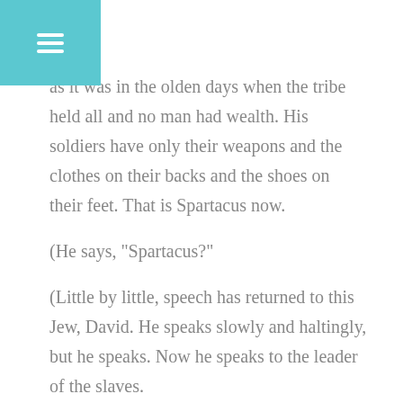[Figure (other): Teal/cyan hamburger menu button in top-left corner]
as it was in the olden days when the tribe held all and no man had wealth. His soldiers have only their weapons and the clothes on their backs and the shoes on their feet. That is Spartacus now.
(He says, "Spartacus?"
(Little by little, speech has returned to this Jew, David. He speaks slowly and haltingly, but he speaks. Now he speaks to the leader of the slaves.
("Spartacus, I am a good fighter, am I not?"